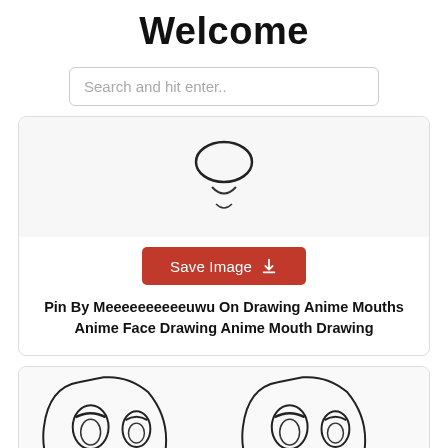Welcome
Search and hit enter..
[Figure (illustration): Partial anime mouth/nose drawing, cropped at top of card]
Save Image
Pin By Meeeeeeeeeeuwu On Drawing Anime Mouths Anime Face Drawing Anime Mouth Drawing
[Figure (illustration): Anime face drawing tutorial showing two side-by-side faces with eyes and different mouth expressions (tear drop and smiling), plus partial third face below]